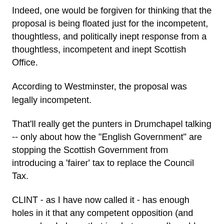Indeed, one would be forgiven for thinking that the proposal is being floated just for the incompetent, thoughtless, and politically inept response from a thoughtless, incompetent and inept Scottish Office.
According to Westminster, the proposal was legally incompetent.
That'll really get the punters in Drumchapel talking -- only about how the "English Government" are stopping the Scottish Government from introducing a 'fairer' tax to replace the Council Tax.
CLINT - as I have now called it - has enough holes in it that any competent opposition (and remember Labour, that is what you are!) could take it apart, or scaremonger enough that the issue of legality, or otherwise, would become an irrelevant side issue.
Some of the holes that Wendy are missing include: